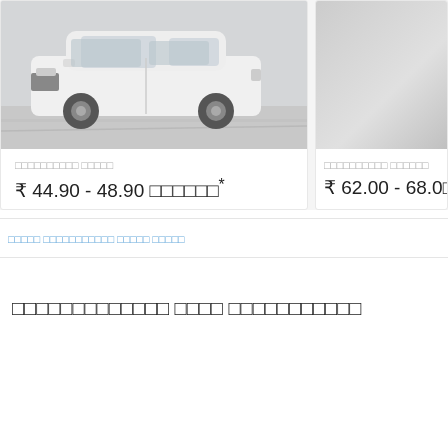[Figure (photo): White Mercedes-Benz SUV driving on road, cropped card image]
□□□□□□□□□□ □□□□□
₹ 44.90 - 48.90 □□□□□□*
[Figure (photo): Light grey placeholder car image, partially visible on right side]
□□□□□□□□□□ □□□□□□
₹ 62.00 - 68.0□
□□□□□ □□□□□□□□□□□ □□□□□ □□□□□
□□□□□□□□□□□□□ □□□□ □□□□□□□□□□□